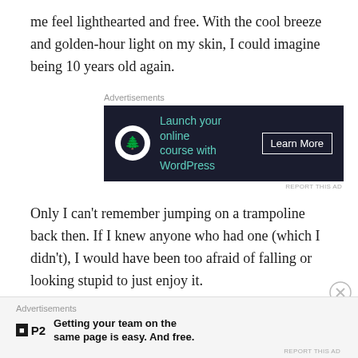me feel lighthearted and free. With the cool breeze and golden-hour light on my skin, I could imagine being 10 years old again.
[Figure (screenshot): Advertisement banner: 'Launch your online course with WordPress' with a Learn More button on dark background]
Only I can't remember jumping on a trampoline back then. If I knew anyone who had one (which I didn't), I would have been too afraid of falling or looking stupid to just enjoy it.
But I'm not anymore. And I'll be launching sky-high from
[Figure (screenshot): Advertisement overlay: P2 logo with text 'Getting your team on the same page is easy. And free.']